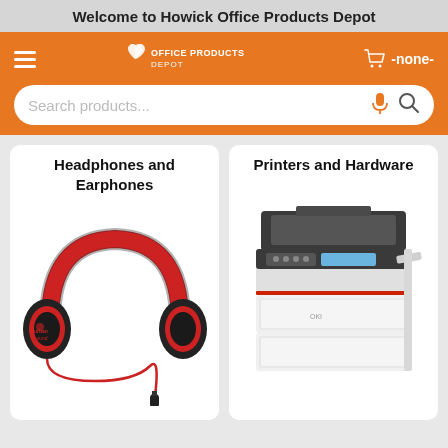Welcome to Howick Office Products Depot
[Figure (screenshot): Orange navigation bar with hamburger menu, Office Products Depot logo, cart icon showing -none-, and a search bar with microphone and search icons]
Headphones and Earphones
[Figure (photo): Red and black over-ear headphones with cable (Urban Sound brand)]
Printers and Hardware
[Figure (photo): OKI brand multifunction printer/copier in white and dark grey]